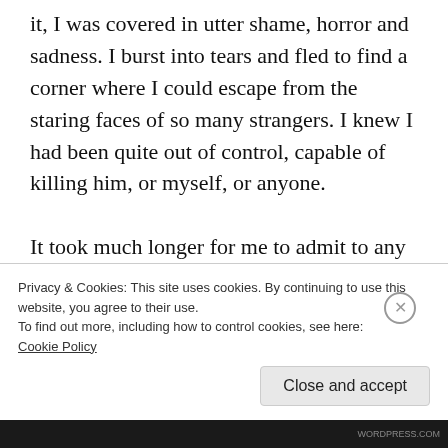it, I was covered in utter shame, horror and sadness. I burst into tears and fled to find a corner where I could escape from the staring faces of so many strangers. I knew I had been quite out of control, capable of killing him, or myself, or anyone.

It took much longer for me to admit to any anger with Rupert. To begin with, I would swear that I wasn't angry with him and could never
Privacy & Cookies: This site uses cookies. By continuing to use this website, you agree to their use.
To find out more, including how to control cookies, see here:
Cookie Policy
Close and accept